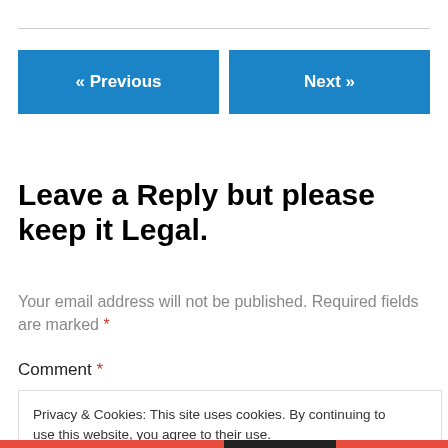« Previous    Next »
Leave a Reply but please keep it Legal.
Your email address will not be published. Required fields are marked *
Comment *
Privacy & Cookies: This site uses cookies. By continuing to use this website, you agree to their use.
To find out more, including how to control cookies, see here: Cookie Policy
Close and accept